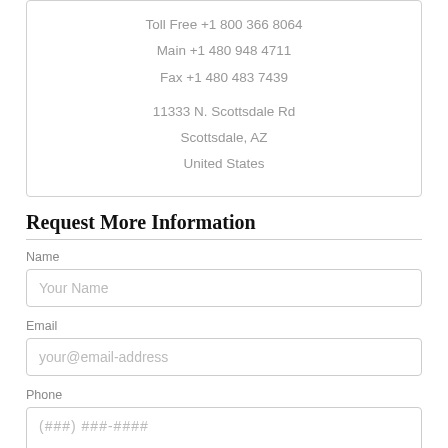Toll Free +1 800 366 8064
Main +1 480 948 4711
Fax +1 480 483 7439
11333 N. Scottsdale Rd
Scottsdale, AZ
United States
Request More Information
Name
Your Name
Email
your@email-address
Phone